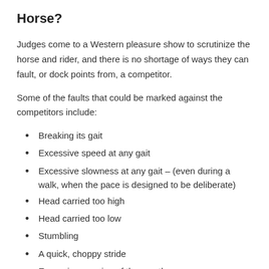Horse?
Judges come to a Western pleasure show to scrutinize the horse and rider, and there is no shortage of ways they can fault, or dock points from, a competitor.
Some of the faults that could be marked against the competitors include:
Breaking its gait
Excessive speed at any gait
Excessive slowness at any gait – (even during a walk, when the pace is designed to be deliberate)
Head carried too high
Head carried too low
Stumbling
A quick, choppy stride
Excessive opening of the mouth